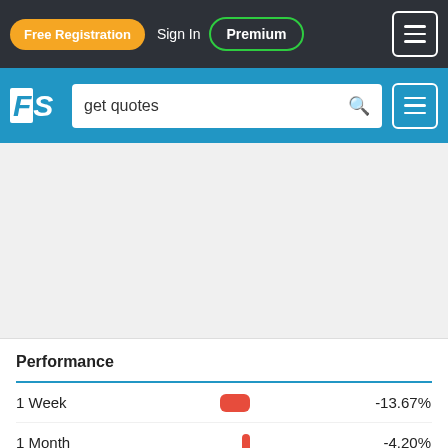Free Registration  Sign In  Premium
[Figure (screenshot): Website navigation bar with Free Registration button, Sign In link, Premium button, and hamburger menu]
[Figure (screenshot): Search bar with FS logo and 'get quotes' search input]
| Period | Bar | Performance |
| --- | --- | --- |
| 1 Week | red bar | -13.67% |
| 1 Month | red bar | -4.20% |
| 3 Months | green bar | -10.22% |